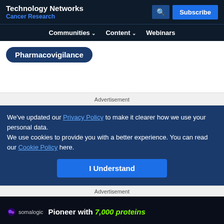Technology Networks Cancer Research
Communities  Content  Webinars
Pharmacovigilance
Advertisement
We've updated our Privacy Policy to make it clearer how we use your personal data.
We use cookies to provide you with a better experience. You can read our Cookie Policy here.
I Understand
Advertisement
[Figure (logo): Somalogic banner ad: Pioneer with 7,000 proteins]